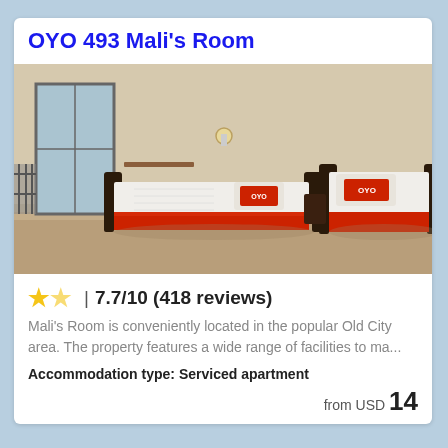OYO 493 Mali's Room
[Figure (photo): Hotel room with two single beds with dark wooden frames, white bedding, red OYO-branded pillows and bed runners, a wall lamp, and a balcony window with iron railings on the left.]
★½ | 7.7/10 (418 reviews)
Mali's Room is conveniently located in the popular Old City area. The property features a wide range of facilities to ma...
Accommodation type: Serviced apartment
from USD 14